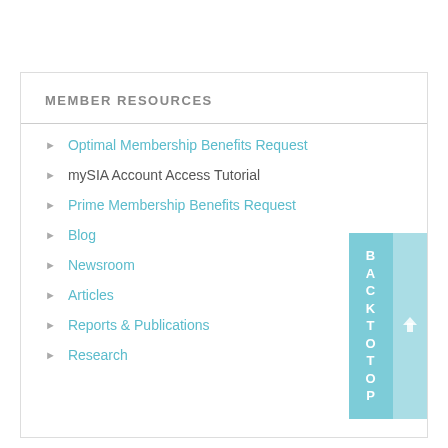MEMBER RESOURCES
Optimal Membership Benefits Request
mySIA Account Access Tutorial
Prime Membership Benefits Request
Blog
Newsroom
Articles
Reports & Publications
Research